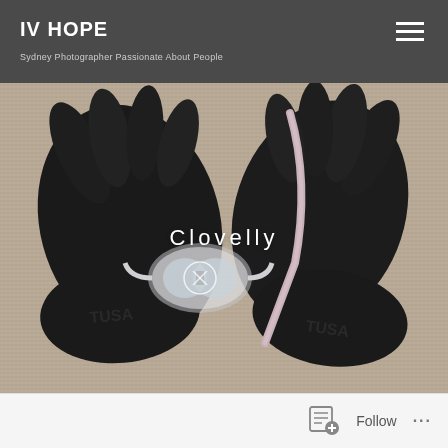IV HOPE
Sydney Photographer Passionate About People
[Figure (photo): Overhead flat-lay photo of black TUSA diving fins, black neoprene diving gloves, and a clear snorkeling mask with pink snorkel tube, arranged on a woven burlap/rope background. The word 'Clovelly' is overlaid in white text at the center.]
Follow ...